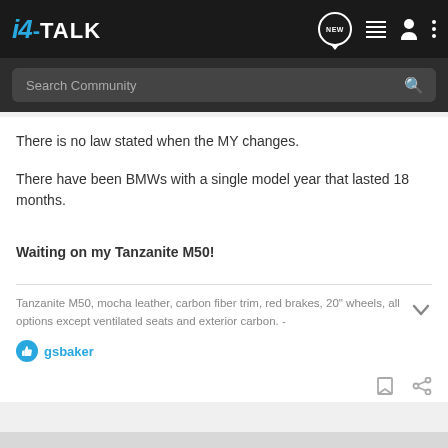i4-TALK
There is no law stated when the MY changes.
There have been BMWs with a single model year that lasted 18 months.
Waiting on my Tanzanite M50!
Tanzanite M50, mocha leather, carbon fiber trim, red brakes, 20" wheels, all options except ventilated seats and exterior carbon. -
gsbaker